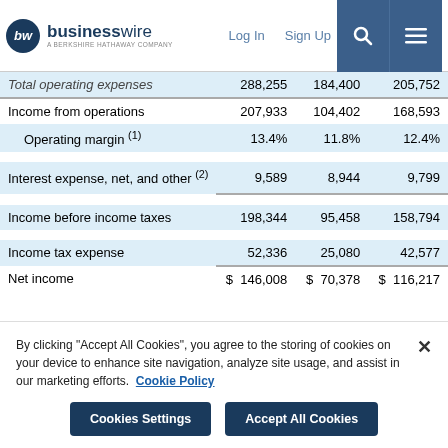businesswire — A Berkshire Hathaway Company | Log In | Sign Up
|  | Col1 | Col2 | Col3 |
| --- | --- | --- | --- |
| Total operating expenses | 288,255 | 184,400 | 205,752 |
| Income from operations | 207,933 | 104,402 | 168,593 |
| Operating margin (1) | 13.4% | 11.8% | 12.4% |
| Interest expense, net, and other (2) | 9,589 | 8,944 | 9,799 |
| Income before income taxes | 198,344 | 95,458 | 158,794 |
| Income tax expense | 52,336 | 25,080 | 42,577 |
| Net income | $ 146,008 | $ 70,378 | $ 116,217 |
By clicking "Accept All Cookies", you agree to the storing of cookies on your device to enhance site navigation, analyze site usage, and assist in our marketing efforts. Cookie Policy